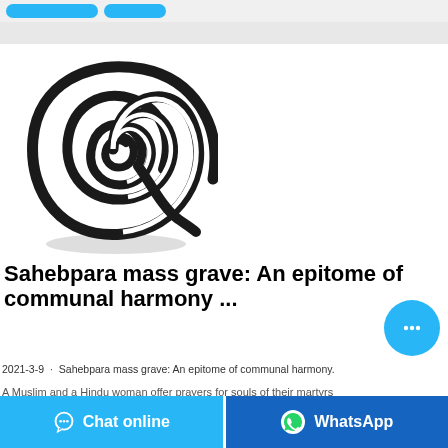[Figure (photo): A black spiral incense coil on a white background]
Sahebpara mass grave: An epitome of communal harmony ...
2021-3-9 · Sahebpara mass grave: An epitome of communal harmony.
A Muslim and a Hindu woman offer prayers for souls of their martyrs.